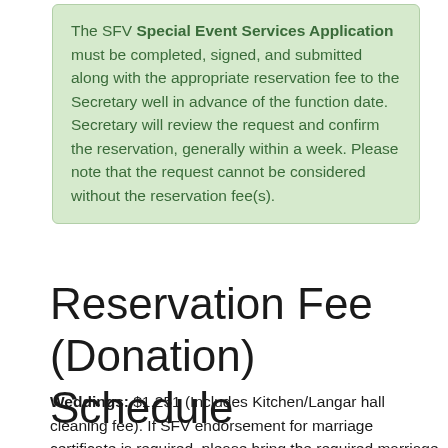The SFV Special Event Services Application must be completed, signed, and submitted along with the appropriate reservation fee to the Secretary well in advance of the function date. Secretary will review the request and confirm the reservation, generally within a week. Please note that the request cannot be considered without the reservation fee(s).
Reservation Fee (Donation) Schedule
Weddings: $1,251 (Includes Kitchen/Langar hall cleaning fee). If SFV endorsement for marriage certificate is required, please bring the required marriage license from Fairfax County to the wedding.